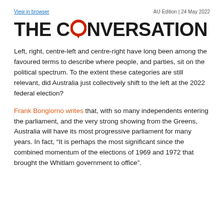View in browser   AU Edition | 24 May 2022
[Figure (logo): The Conversation logo with stylized speech bubble O in red]
Left, right, centre-left and centre-right have long been among the favoured terms to describe where people, and parties, sit on the political spectrum. To the extent these categories are still relevant, did Australia just collectively shift to the left at the 2022 federal election?
Frank Bongiorno writes that, with so many independents entering the parliament, and the very strong showing from the Greens, Australia will have its most progressive parliament for many years. In fact, “It is perhaps the most significant since the combined momentum of the elections of 1969 and 1972 that brought the Whitlam government to office”.